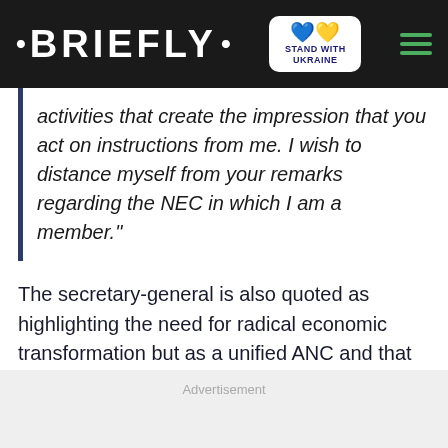• BRIEFLY •
activities that create the impression that you act on instructions from me. I wish to distance myself from your remarks regarding the NEC in which I am a member."
The secretary-general is also quoted as highlighting the need for radical economic transformation but as a unified ANC and that this cannot be allowed to be perceived as the 'domination' of any particular faction within the ruling party:
Advertisement